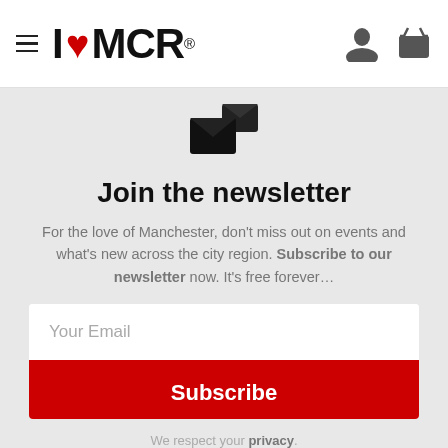I ❤ MCR
[Figure (illustration): Email/newsletter icon: envelope with a smaller envelope/document behind it]
Join the newsletter
For the love of Manchester, don't miss out on events and what's new across the city region. Subscribe to our newsletter now. It's free forever...
Your Email
Subscribe
We respect your privacy.